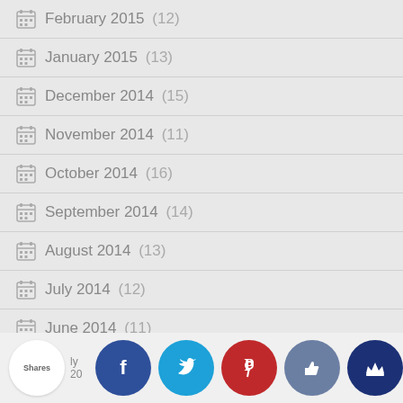February 2015 (12)
January 2015 (13)
December 2014 (15)
November 2014 (11)
October 2014 (16)
September 2014 (14)
August 2014 (13)
July 2014 (12)
June 2014 (11)